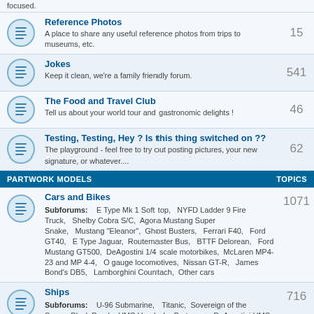focused.
Reference Photos — A place to share any useful reference photos from trips to museums, etc. — 15
Jokes — Keep it clean, we're a family friendly forum. — 541
The Food and Travel Club — Tell us about your world tour and gastronomic delights ! — 46
Testing, Testing, Hey ? Is this thing switched on ?? — The playground - feel free to try out posting pictures, your new signature, or whatever.... — 62
PARTWORK MODELS | TOPICS
Cars and Bikes — Subforums: E Type Mk 1 Soft top, NYFD Ladder 9 Fire Truck, Shelby Cobra S/C, Agora Mustang Super Snake, Mustang "Eleanor", Ghost Busters, Ferrari F40, Ford GT40, E Type Jaguar, Routemaster Bus, BTTF Delorean, Ford Mustang GT500, DeAgostini 1/4 scale motorbikes, McLaren MP4-23 and MP 4-4, O gauge locomotives, Nissan GT-R, James Bond's DB5, Lamborghini Countach, Other cars — 1071
Ships — Subforums: U-96 Submarine, Titanic, Sovereign of the Seas, Black Pearl, HMS Hood, La Bretagne, DeAgostini HMS Victory, Bismarck, DeAgostini Yamato, Akagi, Bounty, Captain Cook's Endeavour, Other ships — 716